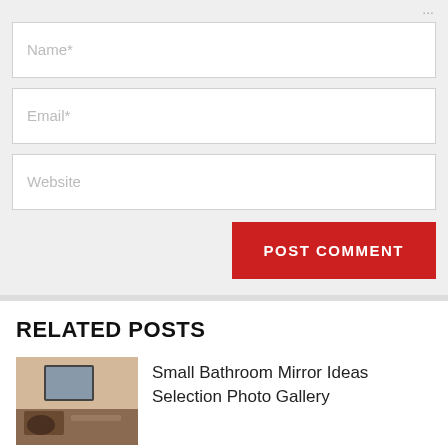[Figure (screenshot): Web form with Name, Email, Website input fields and POST COMMENT button on gray background]
RELATED POSTS
[Figure (photo): Small bathroom interior with mirror and sink]
Small Bathroom Mirror Ideas Selection Photo Gallery
[Figure (photo): Granny flat design photo]
23 Great Photo Of Granny Flat Design